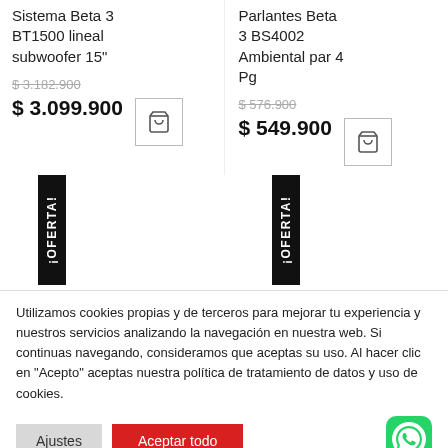Sistema Beta 3 BT1500 lineal subwoofer 15"
$ 3.182.900 (old price)
$ 3.099.900
Parlantes Beta 3 BS4002 Ambiental par 4 Pg
$ 576.900 (old price)
$ 549.900
[Figure (other): ¡OFERTA! badge rotated vertically, dark background]
[Figure (other): ¡OFERTA! badge rotated vertically, dark background]
Utilizamos cookies propias y de terceros para mejorar tu experiencia y nuestros servicios analizando la navegación en nuestra web. Si continuas navegando, consideramos que aceptas su uso. Al hacer clic en "Acepto" aceptas nuestra política de tratamiento de datos y uso de cookies.
Ajustes
Aceptar todo
[Figure (logo): WhatsApp green button icon]